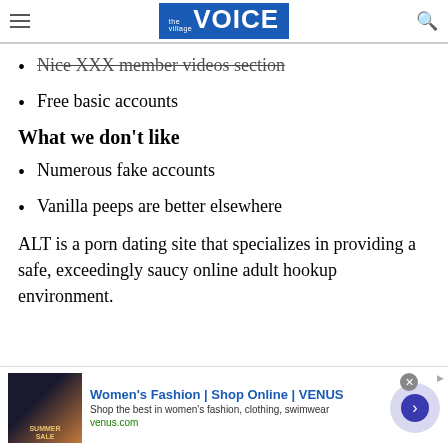the village VOICE
Nice XXX member videos section
Free basic accounts
What we don't like
Numerous fake accounts
Vanilla peeps are better elsewhere
ALT is a porn dating site that specializes in providing a safe, exceedingly saucy online adult hookup environment.